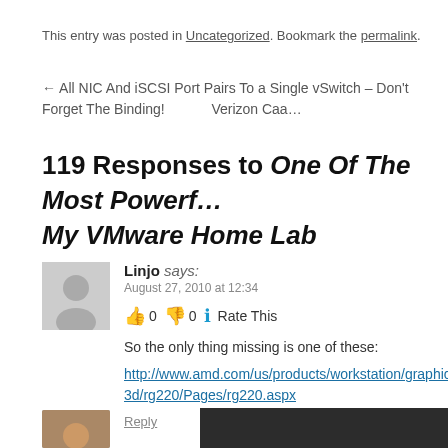This entry was posted in Uncategorized. Bookmark the permalink.
← All NIC And iSCSI Port Pairs To a Single vSwitch – Don't Forget The Binding!    Verizon Caa…
119 Responses to One Of The Most Powerf… My VMware Home Lab
Linjo says:
August 27, 2010 at 12:34
👍 0 👎 0 ℹ Rate This
So the only thing missing is one of these:
http://www.amd.com/us/products/workstation/graphics/3d/rg220/Pages/rg220.aspx
Reply